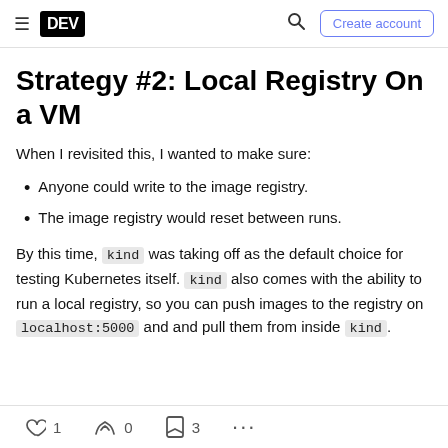DEV | Create account
Strategy #2: Local Registry On a VM
When I revisited this, I wanted to make sure:
Anyone could write to the image registry.
The image registry would reset between runs.
By this time, kind was taking off as the default choice for testing Kubernetes itself. kind also comes with the ability to run a local registry, so you can push images to the registry on localhost:5000 and pull them from inside kind.
1  0  3  ...